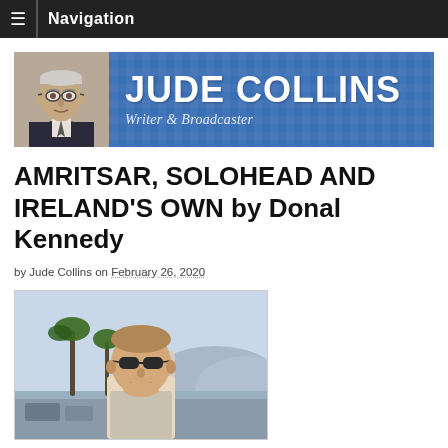☰  Navigation
[Figure (illustration): Jude Collins website banner. Blue tartan background with photo of elderly man on left. Large white bold text: JUDE COLLINS. Italic subtitle: Writer & Broadcaster.]
AMRITSAR, SOLOHEAD AND IRELAND'S OWN by Donal Kennedy
by Jude Collins on February 26, 2020
[Figure (photo): Portrait photo of a man wearing sunglasses, with palm trees and parking lot visible in background.]